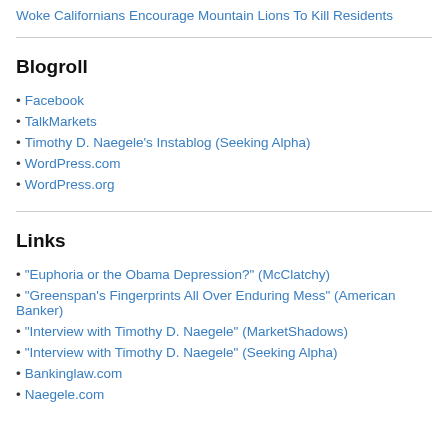Woke Californians Encourage Mountain Lions To Kill Residents
Blogroll
• Facebook
• TalkMarkets
• Timothy D. Naegele's Instablog (Seeking Alpha)
• WordPress.com
• WordPress.org
Links
• "Euphoria or the Obama Depression?" (McClatchy)
• "Greenspan's Fingerprints All Over Enduring Mess" (American Banker)
• "Interview with Timothy D. Naegele" (MarketShadows)
• "Interview with Timothy D. Naegele" (Seeking Alpha)
• Bankinglaw.com
• Naegele.com